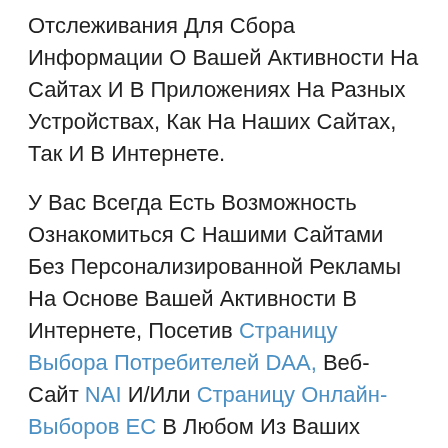Отслеживания Для Сбора Информации О Вашей Активности На Сайтах И В Приложениях На Разных Устройствах, Как На Наших Сайтах, Так И В Интернете.
У Вас Всегда Есть Возможность Ознакомиться С Нашими Сайтами Без Персонализированной Рекламы На Основе Вашей Активности В Интернете, Посетив Страницу Выбора Потребителей DAA, Веб-Сайт NAI И/Или Страницу Онлайн-Выборов ЕС В Любом Из Ваших Браузеров Или Устройств. Чтобы Избежать Персонализированной Рекламы, Основанной На Вашей Активности В Мобильном Приложении, Вы Можете